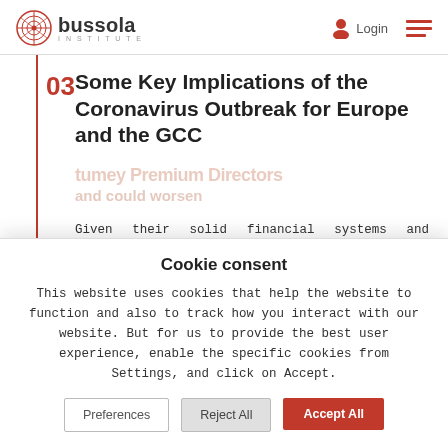bussola institute — Login
03 Some Key Implications of the Coronavirus Outbreak for Europe and the GCC
Given their solid financial systems and government structures, the GCC states were quick to respond with widespread policy measures to the coronavirus outbreak. The same is unlikely to be the case in
Cookie consent
This website uses cookies that help the website to function and also to track how you interact with our website. But for us to provide the best user experience, enable the specific cookies from Settings, and click on Accept.
Preferences
Reject All
Accept All